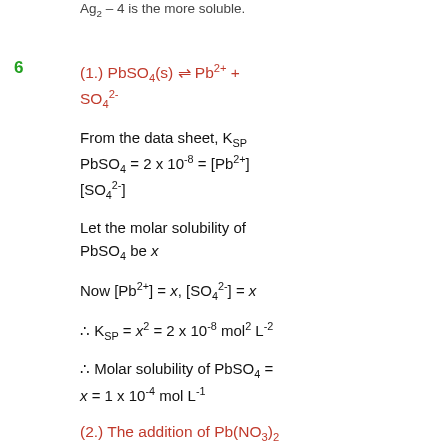Ag2 – 4 is the more soluble.
6
From the data sheet, KSP PbSO4 = 2 x 10^-8 = [Pb2+][SO4^2-]
Let the molar solubility of PbSO4 be x
Now [Pb2+] = x, [SO4^2-] = x
∴ Molar solubility of PbSO4 = x = 1 x 10^-4 mol L^-1